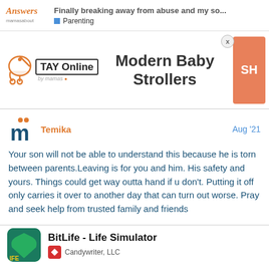Finally breaking away from abuse and my so... | Parenting
[Figure (screenshot): TAY Online by mamas logo with stroller icon and Modern Baby Strollers advertisement banner with orange box showing SH]
Temika
Aug '21
Your son will not be able to understand this because he is torn between parents.Leaving is for you and him. His safety and yours. Things could get way outta hand if u don't. Putting it off only carries it over to another day that can turn out worse. Pray and seek help from trusted family and friends
[Figure (screenshot): BitLife - Life Simulator app advertisement by Candywriter LLC with green app icon]